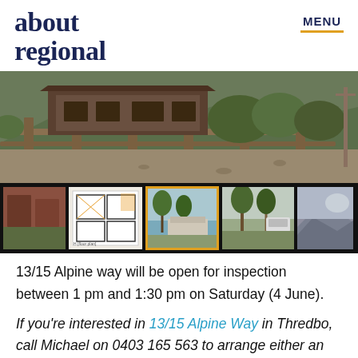about regional | MENU
[Figure (photo): Main photo of a property at 13/15 Alpine Way, showing a wooden fence and hillside vegetation, aerial/elevated view]
[Figure (photo): Thumbnail strip with 5 property photos including floor plan and exterior views. Third thumbnail is selected with yellow border.]
13/15 Alpine way will be open for inspection between 1 pm and 1:30 pm on Saturday (4 June).
If you're interested in 13/15 Alpine Way in Thredbo, call Michael on 0403 165 563 to arrange either an inspection or a virtual tour, and be sure to check out all